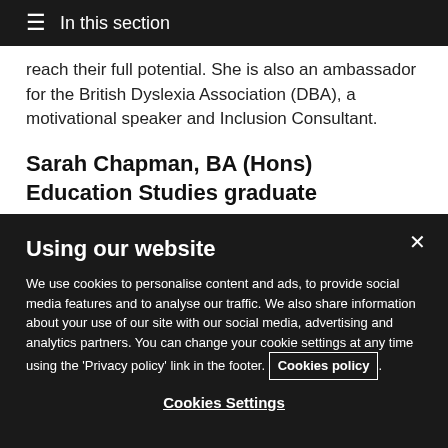≡ In this section
reach their full potential. She is also an ambassador for the British Dyslexia Association (DBA), a motivational speaker and Inclusion Consultant.
Sarah Chapman, BA (Hons) Education Studies graduate
Using our website
We use cookies to personalise content and ads, to provide social media features and to analyse our traffic. We also share information about your use of our site with our social media, advertising and analytics partners. You can change your cookie settings at any time using the 'Privacy policy' link in the footer. Cookies policy.
Cookies Settings